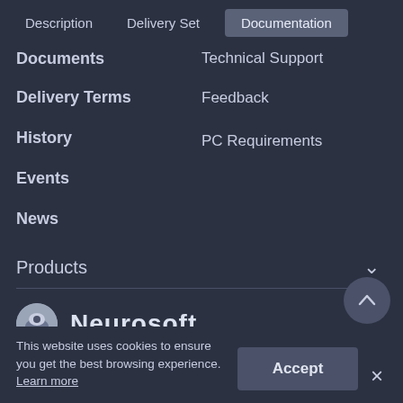Description
Delivery Set
Documentation
Documents
Technical Support
Delivery Terms
Feedback
History
PC Requirements
Events
News
Products
[Figure (logo): Neurosoft logo — circular icon with stylized image and bold text 'Neurosoft']
This website uses cookies to ensure you get the best browsing experience. Learn more
Accept